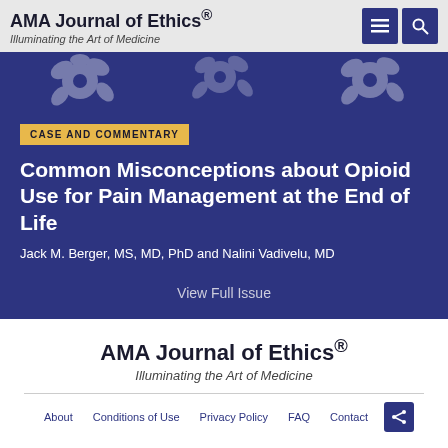AMA Journal of Ethics® Illuminating the Art of Medicine
[Figure (illustration): Dark navy blue floral illustration strip with white flower designs]
CASE AND COMMENTARY
Common Misconceptions about Opioid Use for Pain Management at the End of Life
Jack M. Berger, MS, MD, PhD and Nalini Vadivelu, MD
View Full Issue
AMA Journal of Ethics® Illuminating the Art of Medicine
About   Conditions of Use   Privacy Policy   FAQ   Contact